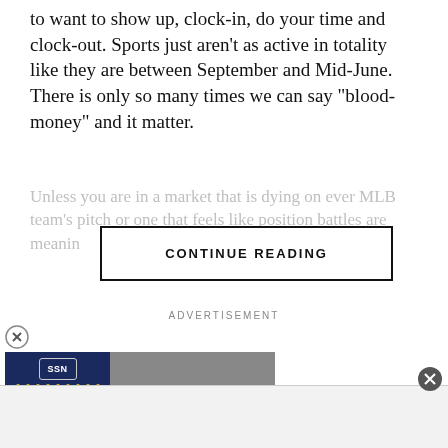to want to show up, clock-in, do your time and clock-out. Sports just aren't as active in totality like they are between September and Mid-June. There is only so many times we can say “blood-money” and it matter.
Unless you are in a market that is dying on ever MLB team’s pitch or one that feels like position battles are meaningful, there is nothing to do like a
CONTINUE READING
ADVERTISEMENT
[Figure (screenshot): Video thumbnail for The Producers Podcast showing a man in a black jacket on the right side and the show logo on a dark blue background on the left with gold marquee lights and bottom gold bar. A play button overlay is visible in the center.]